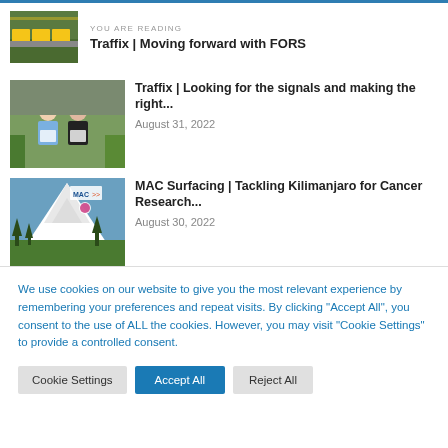YOU ARE READING
Traffix | Moving forward with FORS
Traffix | Looking for the signals and making the right...
August 31, 2022
MAC Surfacing | Tackling Kilimanjaro for Cancer Research...
August 30, 2022
We use cookies on our website to give you the most relevant experience by remembering your preferences and repeat visits. By clicking "Accept All", you consent to the use of ALL the cookies. However, you may visit "Cookie Settings" to provide a controlled consent.